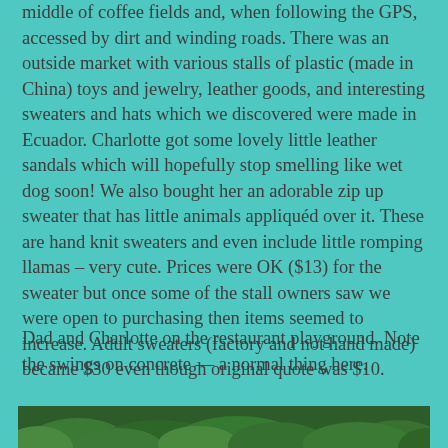middle of coffee fields and, when following the GPS, accessed by dirt and winding roads. There was an outside market with various stalls of plastic (made in China) toys and jewelry, leather goods, and interesting sweaters and hats which we discovered were made in Ecuador. Charlotte got some lovely little leather sandals which will hopefully stop smelling like wet dog soon! We also bought her an adorable zip up sweater that has little animals appliquéd over it. These are hand knit sweaters and even include little romping llamas – very cute. Prices were OK ($13) for the sweater but once some of the stall owners saw we were open to purchasing then items seemed to increase. Adult sweaters (factory and not hand made) became $30 even though original quote was $10.
Dad and Charlotte on the restaurant playground. Note the swings on concrete — a normal thing here.
[Figure (photo): Photo of Dad and Charlotte on a restaurant playground, partially visible at the bottom of the page, showing green foliage/trees.]